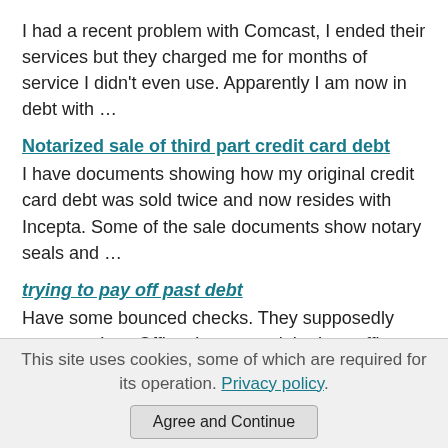I had a recent problem with Comcast, I ended their services but they charged me for months of service I didn't even use. Apparently I am now in debt with …
Notarized sale of third part credit card debt
I have documents showing how my original credit card debt was sold twice and now resides with Incepta. Some of the sale documents show notary seals and …
trying to pay off past debt
Have some bounced checks. They supposedly went to a Law Office. I contacted the Law office and asked them for a statement. They said they did not give …
Breaking lease because of no money
I'm a college student and I signed a 12 month lease last
This site uses cookies, some of which are required for its operation. Privacy policy.